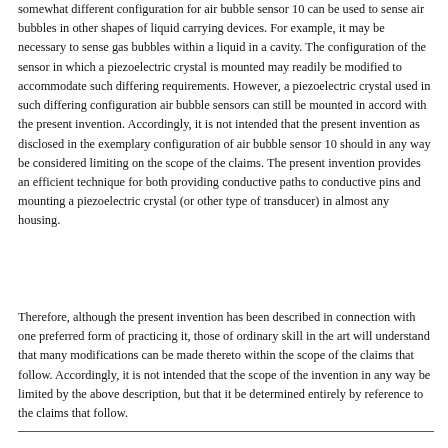somewhat different configuration for air bubble sensor 10 can be used to sense air bubbles in other shapes of liquid carrying devices. For example, it may be necessary to sense gas bubbles within a liquid in a cavity. The configuration of the sensor in which a piezoelectric crystal is mounted may readily be modified to accommodate such differing requirements. However, a piezoelectric crystal used in such differing configuration air bubble sensors can still be mounted in accord with the present invention. Accordingly, it is not intended that the present invention as disclosed in the exemplary configuration of air bubble sensor 10 should in any way be considered limiting on the scope of the claims. The present invention provides an efficient technique for both providing conductive paths to conductive pins and mounting a piezoelectric crystal (or other type of transducer) in almost any housing.
Therefore, although the present invention has been described in connection with one preferred form of practicing it, those of ordinary skill in the art will understand that many modifications can be made thereto within the scope of the claims that follow. Accordingly, it is not intended that the scope of the invention in any way be limited by the above description, but that it be determined entirely by reference to the claims that follow.